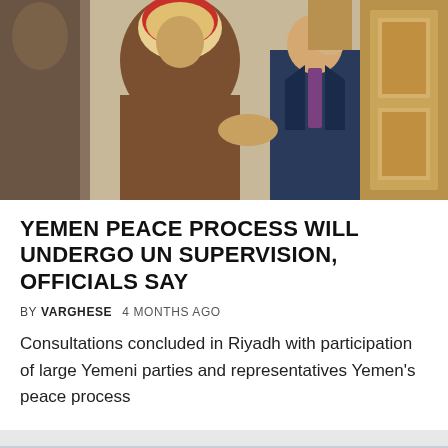[Figure (photo): Men in traditional Saudi Arabian dress and a man in a Western business suit shaking hands or greeting in an official setting.]
YEMEN PEACE PROCESS WILL UNDERGO UN SUPERVISION, OFFICIALS SAY
BY VARGHESE   4 MONTHS AGO
Consultations concluded in Riyadh with participation of large Yemeni parties and representatives Yemen’s peace process
[Figure (photo): Urban cityscape with tall buildings and skyscrapers under an overcast sky, with a NEWS badge overlay and a scroll-up button.]